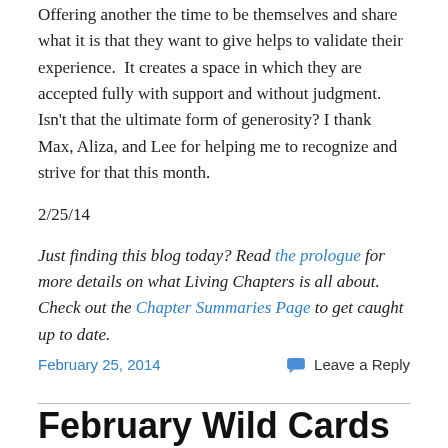Offering another the time to be themselves and share what it is that they want to give helps to validate their experience.  It creates a space in which they are accepted fully with support and without judgment. Isn't that the ultimate form of generosity? I thank Max, Aliza, and Lee for helping me to recognize and strive for that this month.
2/25/14
Just finding this blog today? Read the prologue for more details on what Living Chapters is all about. Check out the Chapter Summaries Page to get caught up to date.
February 25, 2014   Leave a Reply
February Wild Cards